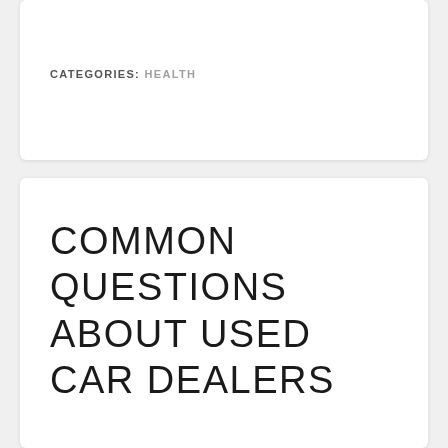CATEGORIES: HEALTH
COMMON QUESTIONS ABOUT USED CAR DEALERS
GOSSAMERBLUE | FEBRUARY 19, 2022